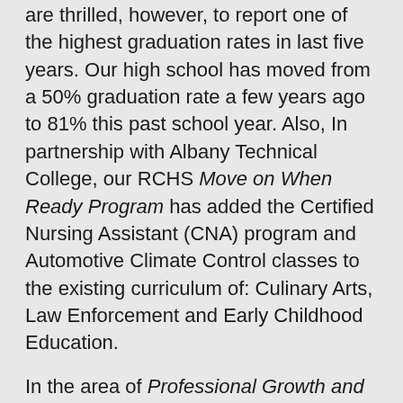are thrilled, however, to report one of the highest graduation rates in last five years. Our high school has moved from a 50% graduation rate a few years ago to 81% this past school year. Also, In partnership with Albany Technical College, our RCHS Move on When Ready Program has added the Certified Nursing Assistant (CNA) program and Automotive Climate Control classes to the existing curriculum of: Culinary Arts, Law Enforcement and Early Childhood Education.
In the area of Professional Growth and Development, our teachers and other staff members have been working very hard. Throughout the summer, many of our educators have been involved in a variety of workshops and professional development. What teachers know and do, directly impacts what students learn. If we are to improve the quality of instruction, we need to have...